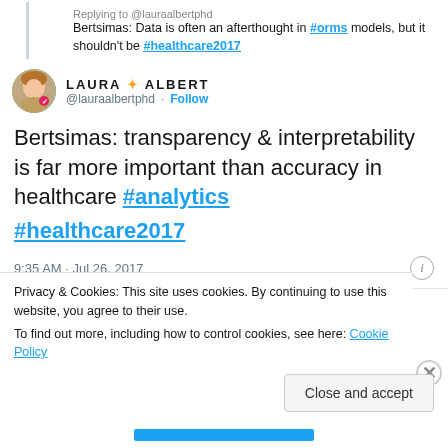Replying to @lauraalbertphd
Bertsimas: Data is often an afterthought in #orms models, but it shouldn't be #healthcare2017
LAURA ✦ ALBERT @lauraalbertphd · Follow
Bertsimas: transparency & interpretability is far more important than accuracy in healthcare #analytics

#healthcare2017
9:35 AM · Jul 26, 2017
Privacy & Cookies: This site uses cookies. By continuing to use this website, you agree to their use.
To find out more, including how to control cookies, see here: Cookie Policy
Close and accept